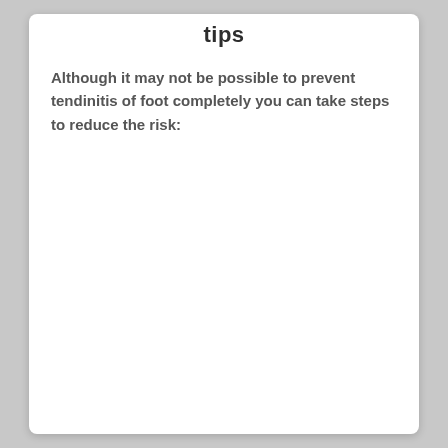tips
Although it may not be possible to prevent tendinitis of foot completely you can take steps to reduce the risk: